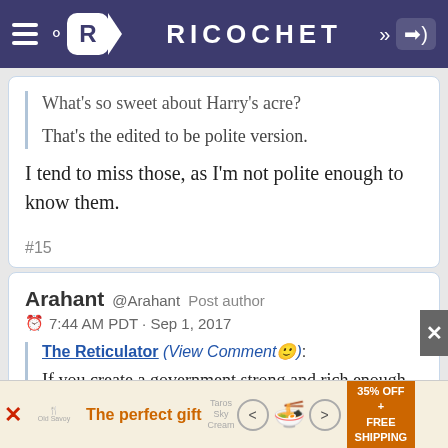RICOCHET
What's so sweet about Harry's acre?
That's the edited to be polite version.
I tend to miss those, as I'm not polite enough to know them.
#15
Arahant @Arahant Post author
7:44 AM PDT · Sep 1, 2017
The Reticulator (View Comment☺): If you create a government strong and rich enough to whip enemies in wartime, you've also created a
[Figure (other): Advertisement banner: The perfect gift, 35% OFF + FREE SHIPPING]